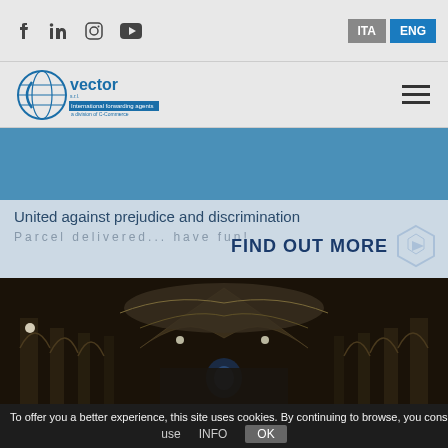Social icons: facebook, linkedin, instagram, youtube | ITA | ENG
[Figure (logo): Vector s.r.l. international forwarding agents logo with globe icon]
United against prejudice and discrimination
Parcel delivered... have fun!
FIND OUT MORE
[Figure (photo): Interior of an ornate cathedral with gothic arches, painted vaulted ceiling, columns, and ornate decorations photographed from the nave looking toward the altar]
To offer you a better experience, this site uses cookies. By continuing to browse, you consent to their use   INFO   OK